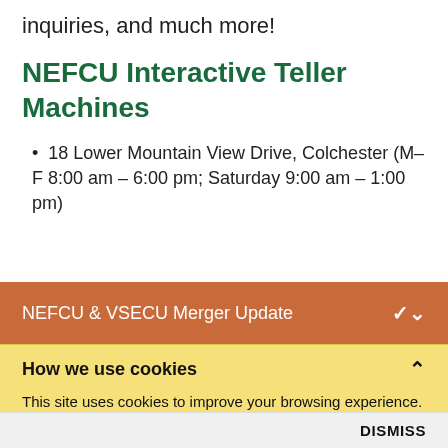inquiries, and much more!
NEFCU Interactive Teller Machines
18 Lower Mountain View Drive, Colchester (M–F 8:00 am – 6:00 pm; Saturday 9:00 am – 1:00 pm)
NEFCU & VSECU Merger Update
How we use cookies
This site uses cookies to improve your browsing experience. By using the website, you consent to the use of cookies. To learn more about our commitment to protecting your personal information see our privacy policy.
DISMISS